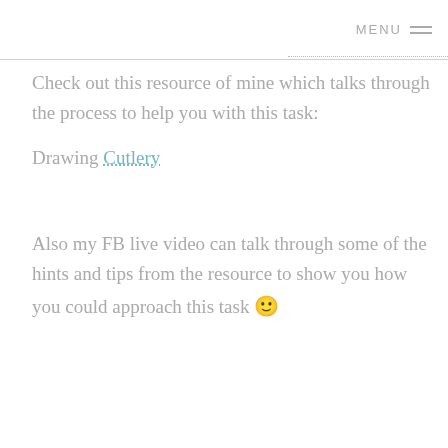MENU ☰
Check out this resource of mine which talks through the process to help you with this task:
Drawing Cutlery
Also my FB live video can talk through some of the hints and tips from the resource to show you how you could approach this task 🙂